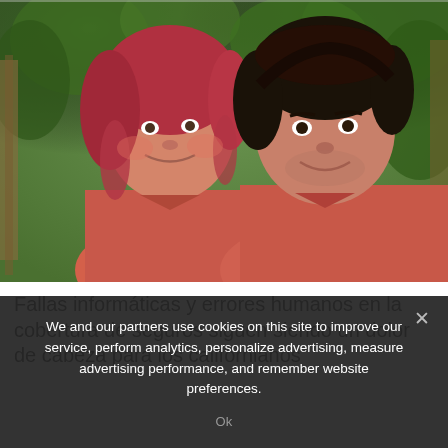[Figure (photo): Two people smiling outdoors in a garden setting. An older woman with reddish-pink hair wearing a coral/salmon shirt on the left, and a younger man with dark hair wearing a salmon shirt on the right. Green foliage visible in the background.]
Fallas informáticas y errores humanos en la cobertura de seguros siguen siendo un dolor de cabeza para los californianos
We and our partners use cookies on this site to improve our service, perform analytics, personalize advertising, measure advertising performance, and remember website preferences.